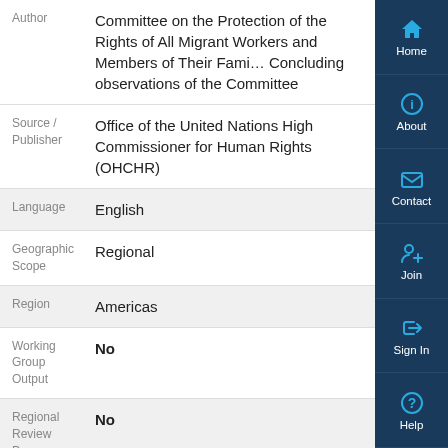| Field | Value |
| --- | --- |
| Author | Committee on the Protection of the Rights of All Migrant Workers and Members of Their Families; Concluding observations of the Committee |
| Source / Publisher | Office of the United Nations High Commissioner for Human Rights (OHCHR) |
| Language | English |
| Geographic Scope | Regional |
| Region | Americas |
| Working Group Output | No |
| Regional Review Process | No |